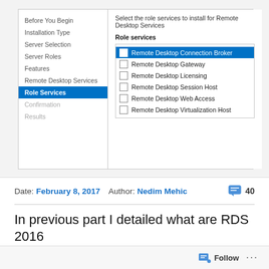[Figure (screenshot): Windows Server Manager wizard screenshot showing Role Services step. Left nav: Before You Begin, Installation Type, Server Selection, Server Roles, Features, Remote Desktop Services, Role Services (active/highlighted blue), Confirmation, Results. Right panel: 'Select the role services to install for Remote Desktop Services' with a list box containing: Remote Desktop Connection Broker (selected/highlighted blue), Remote Desktop Gateway, Remote Desktop Licensing, Remote Desktop Session Host, Remote Desktop Web Access, Remote Desktop Virtualization Host.]
Date: February 8, 2017   Author: Nedim Mehic   40
In previous part I detailed what are RDS 2016 deployment types, news in RDS 2016 and what are
Follow  ...